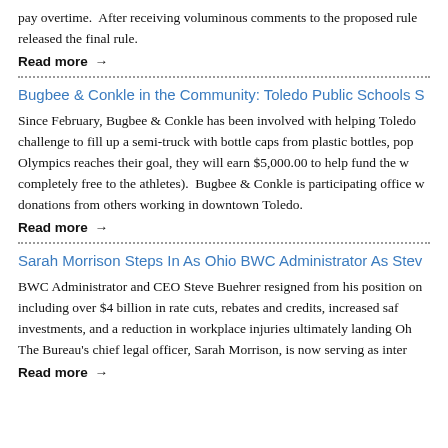pay overtime.  After receiving voluminous comments to the proposed rule, released the final rule.
Read more →
Bugbee & Conkle in the Community: Toledo Public Schools S
Since February, Bugbee & Conkle has been involved with helping Toledo challenge to fill up a semi-truck with bottle caps from plastic bottles, pop Olympics reaches their goal, they will earn $5,000.00 to help fund the w completely free to the athletes).  Bugbee & Conkle is participating office w donations from others working in downtown Toledo.
Read more →
Sarah Morrison Steps In As Ohio BWC Administrator As Stev
BWC Administrator and CEO Steve Buehrer resigned from his position on including over $4 billion in rate cuts, rebates and credits, increased saf investments, and a reduction in workplace injuries ultimately landing Oh The Bureau's chief legal officer, Sarah Morrison, is now serving as inter
Read more →